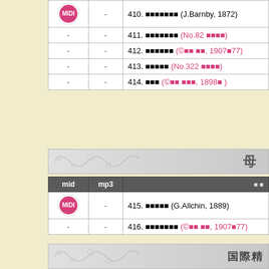| mid | mp3 | 曲名 |
| --- | --- | --- |
| MIDI | - | 410. ○○○○○○○ (J.Barnby, 1872) |
| - | - | 411. ○○○○○○○ (No.82 ○○○○) |
| - | - | 412. ○○○○○○ (©○○ ○○, 1907○77) |
| - | - | 413. ○○○○○ (No.322 ○○○○) |
| - | - | 414. ○○○ (©○○ ○○○, 1898○ ) |
母
| mid | mp3 | 曲 名 |
| --- | --- | --- |
| MIDI | - | 415. ○○○○○ (G.Allchin, 1889) |
| - | - | 416. ○○○○○○○ (©○○ ○○, 1907○77) |
国際精